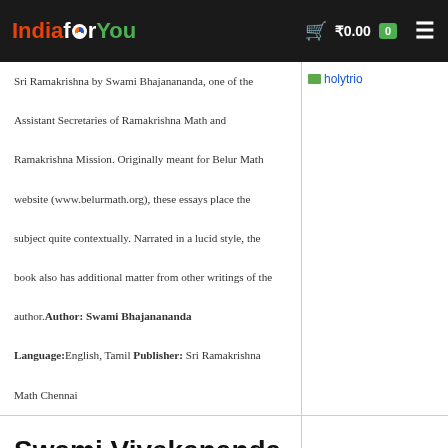IndiaforYou ₹0.00 0
Sri Ramakrishna by Swami Bhajanananda, one of the Assistant Secretaries of Ramakrishna Math and Ramakrishna Mission. Originally meant for Belur Math website (www.belurmath.org), these essays place the subject quite contextually. Narrated in a lucid style, the book also has additional matter from other writings of the author.Author: Swami Bhajanananda Language:English, Tamil Publisher: Sri Ramakrishna Math Chennai
[Figure (photo): Small thumbnail image labeled 'holytrio' with green indicator]
Swami Vivekananda Epoch Maker Spiritual Leader